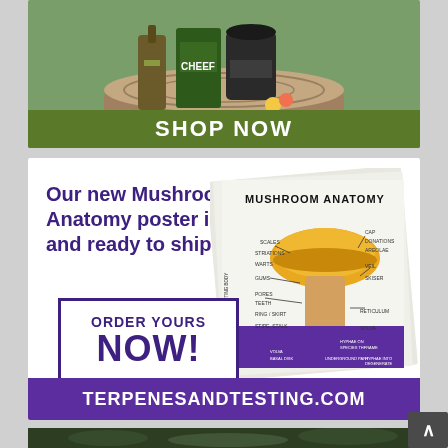[Figure (photo): CHEEF brand CBD products (oils, gummies) arranged on a tree stump with nature background, with a green SHOP NOW banner at the bottom]
[Figure (infographic): Advertisement for Mushroom Anatomy poster. Purple text on white background reading 'Our new Mushroom Anatomy poster is in and ready to ship!' with ORDER YOURS NOW! button and image of the mushroom anatomy poster. Website bar: TERPENESANDTESTING.COM]
[Figure (photo): Bottom strip showing dark green foliage, partially visible]